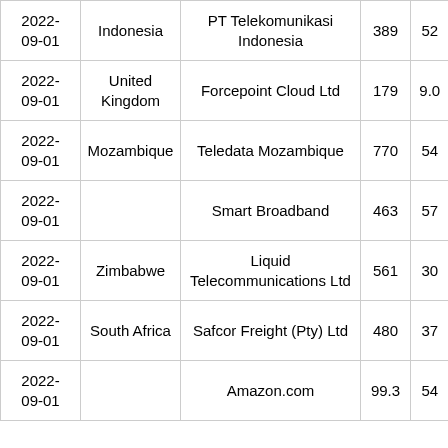| Date | Country | Organization | Col4 | Col5 |
| --- | --- | --- | --- | --- |
| 2022-09-01 | Indonesia | PT Telekomunikasi Indonesia | 389 | 52 |
| 2022-09-01 | United Kingdom | Forcepoint Cloud Ltd | 179 | 9.0 |
| 2022-09-01 | Mozambique | Teledata Mozambique | 770 | 54 |
| 2022-09-01 |  | Smart Broadband | 463 | 57 |
| 2022-09-01 | Zimbabwe | Liquid Telecommunications Ltd | 561 | 30 |
| 2022-09-01 | South Africa | Safcor Freight (Pty) Ltd | 480 | 37 |
| 2022-09-01 |  | Amazon.com | 99.3 | 54 |